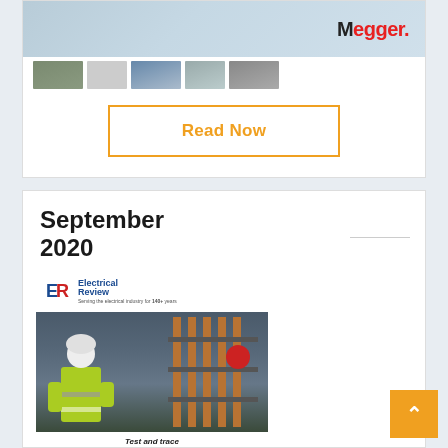[Figure (screenshot): Megger magazine cover thumbnail showing cover image and a row of smaller article thumbnails below it]
Read Now
September 2020
[Figure (photo): Electrical Review magazine cover for September 2020, showing a worker in high-visibility jacket and hard hat working on electrical substation equipment with copper busbars, with 'Test and trace' text visible at the bottom]